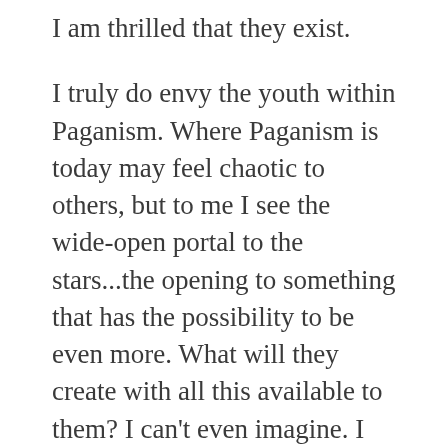I am thrilled that they exist.
I truly do envy the youth within Paganism. Where Paganism is today may feel chaotic to others, but to me I see the wide-open portal to the stars...the opening to something that has the possibility to be even more. What will they create with all this available to them? I can’t even imagine. I wish and hope I am around long enough to just dip my toe into the depths of what they start. I feel its going to be incredible.